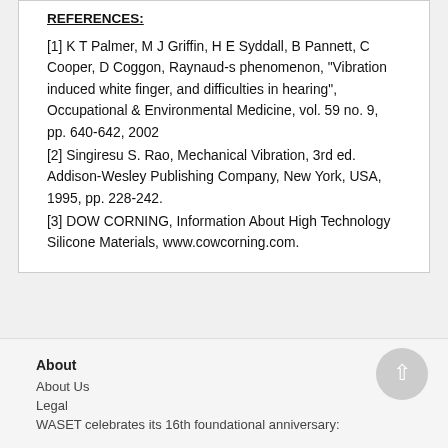REFERENCES:
[1] K T Palmer, M J Griffin, H E Syddall, B Pannett, C Cooper, D Coggon, Raynaud-s phenomenon, "Vibration induced white finger, and difficulties in hearing", Occupational & Environmental Medicine, vol. 59 no. 9, pp. 640-642, 2002
[2] Singiresu S. Rao, Mechanical Vibration, 3rd ed. Addison-Wesley Publishing Company, New York, USA, 1995, pp. 228-242.
[3] DOW CORNING, Information About High Technology Silicone Materials, www.cowcorning.com.
About
About Us
Legal
WASET celebrates its 16th foundational anniversary: